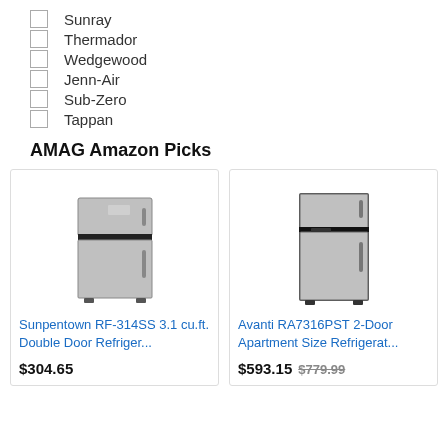Sunray
Thermador
Wedgewood
Jenn-Air
Sub-Zero
Tappan
AMAG Amazon Picks
[Figure (photo): Sunpentown RF-314SS 3.1 cu.ft. Double Door Refrigerator, stainless steel]
Sunpentown RF-314SS 3.1 cu.ft. Double Door Refriger...
$304.65
[Figure (photo): Avanti RA7316PST 2-Door Apartment Size Refrigerator, stainless steel]
Avanti RA7316PST 2-Door Apartment Size Refrigerat...
$593.15  $779.99